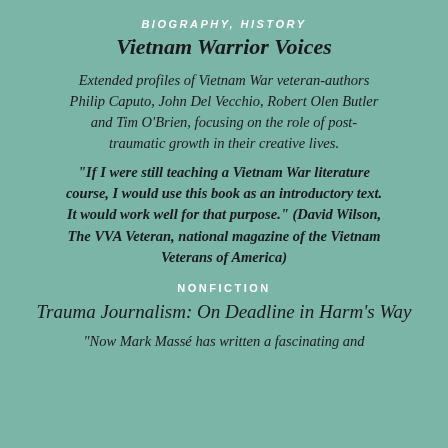BIOGRAPHY, HISTORY
Vietnam Warrior Voices
Extended profiles of Vietnam War veteran-authors Philip Caputo, John Del Vecchio, Robert Olen Butler and Tim O'Brien, focusing on the role of post-traumatic growth in their creative lives.
"If I were still teaching a Vietnam War literature course, I would use this book as an introductory text. It would work well for that purpose." (David Wilson, The VVA Veteran, national magazine of the Vietnam Veterans of America)
NONFICTION
Trauma Journalism: On Deadline in Harm's Way
"Now Mark Massé has written a fascinating and